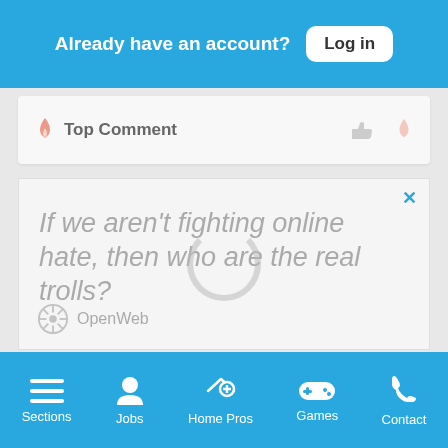Already have an account? Log in
🔥 Top Comment
[Figure (screenshot): Advertisement with text: 'If we aren't fighting online hate, then who are the real trolls?' and subtext 'It's time to save online conversation.' with a 'Learn more' button and OpenWeb logo. A loading spinner is overlaid on the ad.]
Sections | Jobs | Home Pros | Games | Contact